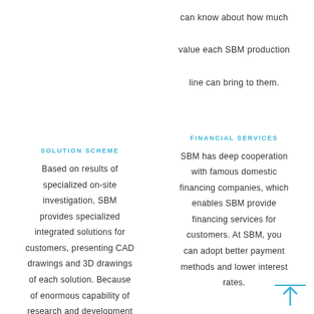can know about how much value each SBM production line can bring to them.
SOLUTION SCHEME
FINANCIAL SERVICES
Based on results of specialized on-site investigation, SBM provides specialized integrated solutions for customers, presenting CAD drawings and 3D drawings of each solution. Because of enormous capability of research and development
SBM has deep cooperation with famous domestic financing companies, which enables SBM provide financing services for customers. At SBM, you can adopt better payment methods and lower interest rates.